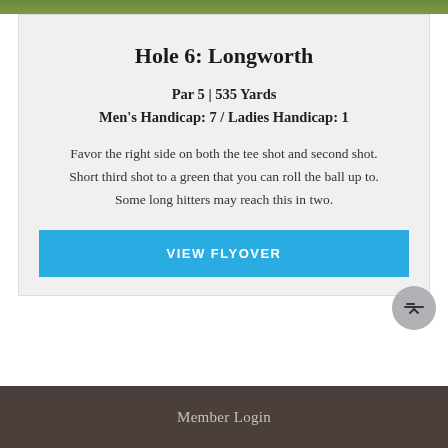[Figure (photo): Green grass/turf strip at top of page]
Hole 6: Longworth
Par 5 | 535 Yards
Men's Handicap: 7 / Ladies Handicap: 1
Favor the right side on both the tee shot and second shot. Short third shot to a green that you can roll the ball up to. Some long hitters may reach this in two.
VIEW FLYOVER
Member Login